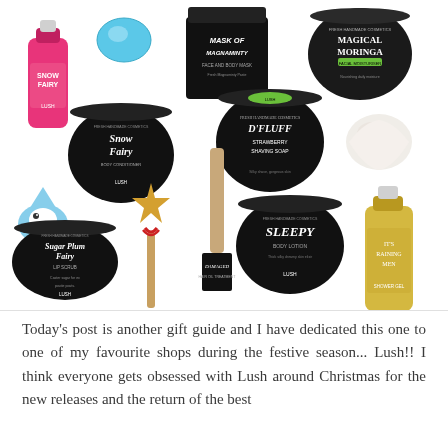[Figure (photo): Collage of Lush Cosmetics products on white background including: Snow Fairy shower gel (pink bottle), blue bath bomb, Mask of Magnaminty face and body mask (black tub), Magical Moringa facial moisturiser (black tin), Snow Fairy body conditioner (black tin), D'Fluff Strawberry Shaving Soap (black tin), white shaped bath product, penguin-shaped bath bomb, gold star wand, wooden stick product, Sleepy body lotion (black tin), It's Raining Men shower gel (yellow bottle), Sugar Plum Fairy lip scrub (black tin), Damaged hair oil treatment.]
Today's post is another gift guide and I have dedicated this one to one of my favourite shops during the festive season... Lush!! I think everyone gets obsessed with Lush around Christmas for the new releases and the return of the best